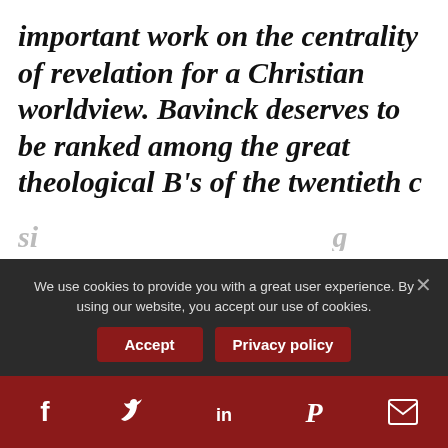important work on the centrality of revelation for a Christian worldview. Bavinck deserves to be ranked among the great theological B’s of the twentieth c… today continue to negotiate the narrow orthodox path through the broad…
[Figure (infographic): Dark rounded bar with shield/cross icon and text: Got questions about RTS or enrollment?]
[Figure (infographic): Dark circular chat bubble button icon]
We use cookies to provide you with a great user experience. By using our website, you accept our use of cookies.
[Figure (infographic): Cookie consent bar with Accept and Privacy policy buttons and a close X]
[Figure (infographic): Social sharing bar with Facebook, Twitter, LinkedIn, Pinterest, and Email icons]